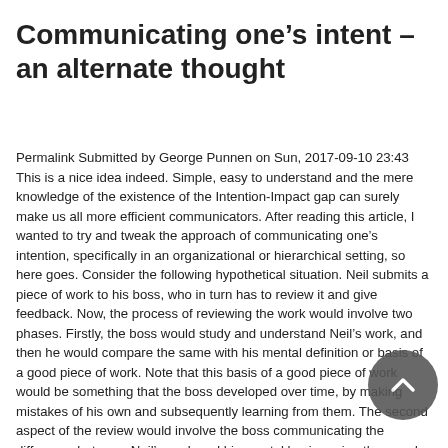Communicating one’s intent – an alternate thought
Permalink Submitted by George Punnen on Sun, 2017-09-10 23:43 This is a nice idea indeed. Simple, easy to understand and the mere knowledge of the existence of the Intention-Impact gap can surely make us all more efficient communicators. After reading this article, I wanted to try and tweak the approach of communicating one’s intention, specifically in an organizational or hierarchical setting, so here goes. Consider the following hypothetical situation. Neil submits a piece of work to his boss, who in turn has to review it and give feedback. Now, the process of reviewing the work would involve two phases. Firstly, the boss would study and understand Neil’s work, and then he would compare the same with his mental definition or basis of a good piece of work. Note that this basis of a good piece of work would be something that the boss developed over time, by making mistakes of his own and subsequently learning from them. The second aspect of the review would involve the boss communicating the difference between Neil’s work and his mental basis- or in other words, the feedback. Now, this feedback communication may come out as - This work is unacceptable! Surely you are capable of more hard work! It can even be more specific like - Your work lacks so and so elements etc. Now the question is, can the boss’s intention be communicated in such a way that the desired intent is developed in the mind of the listener, rather than being enforced upon